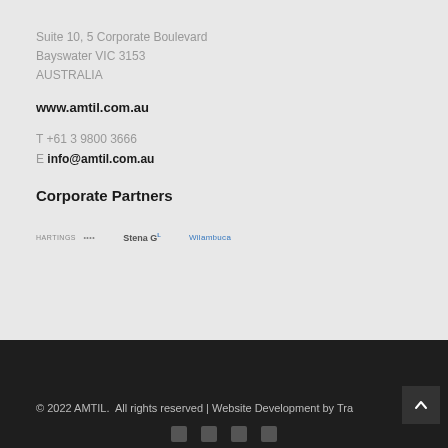Suite 10, 5 Corporate Boulevard
Bayswater VIC 3153
AUSTRALIA
www.amtil.com.au
T +61 3 9800 3666
E info@amtil.com.au
Corporate Partners
[Figure (logo): Three corporate partner logos: an unreadable small logo, Stena GL logo, and Wilambuca logo]
© 2022 AMTIL.  All rights reserved | Website Development by Tra